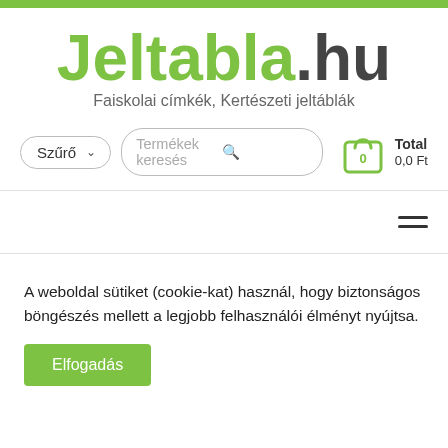[Figure (logo): Jeltabla.hu logo with green 'Jeltabla' and dark grey '.hu']
Jeltabla.hu
Faiskolai címkék, Kertészeti jeltáblák
[Figure (screenshot): Search bar with Szűrő filter dropdown and Termékek keresés search field, and shopping cart showing Total 0,0 Ft]
[Figure (other): Hamburger menu icon (three horizontal lines) on right side]
A weboldal sütiket (cookie-kat) használ, hogy biztonságos böngészés mellett a legjobb felhasználói élményt nyújtsa.
Elfogadás